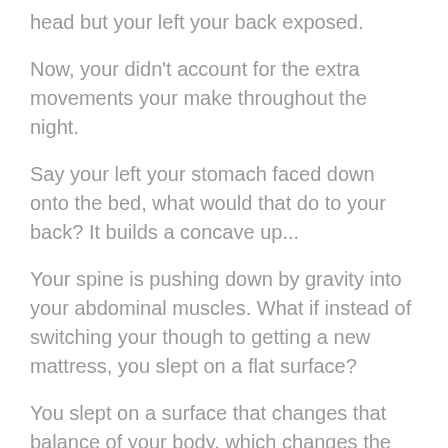head but your left your back exposed.
Now, your didn't account for the extra movements your make throughout the night.
Say your left your stomach faced down onto the bed, what would that do to your back? It builds a concave up...
Your spine is pushing down by gravity into your abdominal muscles. What if instead of switching your though to getting a new mattress, you slept on a flat surface?
You slept on a surface that changes that balance of your body, which changes the way your body-